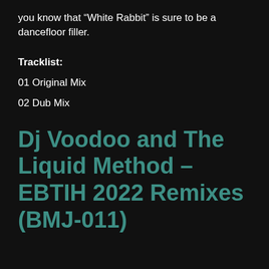you know that “White Rabbit” is sure to be a dancefloor filler.
Tracklist:
01 Original Mix
02 Dub Mix
Dj Voodoo and The Liquid Method – EBTIH 2022 Remixes (BMJ-011)